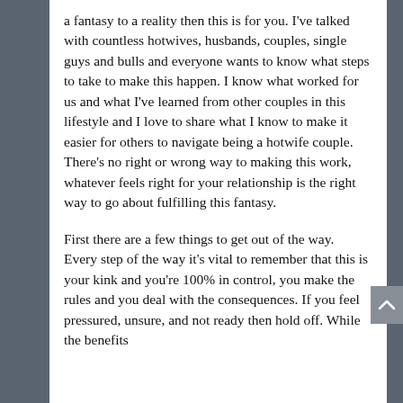a fantasy to a reality then this is for you. I've talked with countless hotwives, husbands, couples, single guys and bulls and everyone wants to know what steps to take to make this happen. I know what worked for us and what I've learned from other couples in this lifestyle and I love to share what I know to make it easier for others to navigate being a hotwife couple. There's no right or wrong way to making this work, whatever feels right for your relationship is the right way to go about fulfilling this fantasy.
First there are a few things to get out of the way. Every step of the way it's vital to remember that this is your kink and you're 100% in control, you make the rules and you deal with the consequences. If you feel pressured, unsure, and not ready then hold off. While the benefits